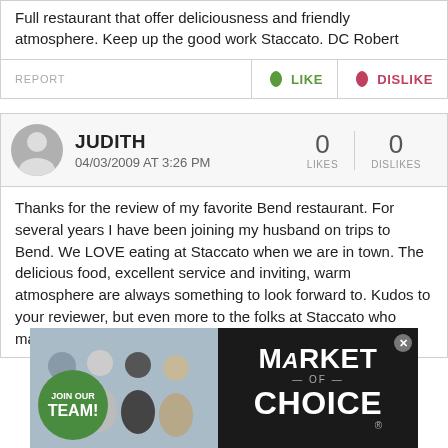Full restaurant that offer deliciousness and friendly atmosphere. Keep up the good work Staccato. DC Robert
REPORT   LIKE   DISLIKE
JUDITH
04/03/2009 AT 3:26 PM
0 LIKES   0 DISLIKES
Thanks for the review of my favorite Bend restaurant. For several years I have been joining my husband on trips to Bend. We LOVE eating at Staccato when we are in town. The delicious food, excellent service and inviting, warm atmosphere are always something to look forward to. Kudos to your reviewer, but even more to the folks at Staccato who make us WANT to return.
[Figure (photo): Advertisement for Market of Choice showing staff members with JOIN OUR TEAM text and Market of Choice logo on dark background]